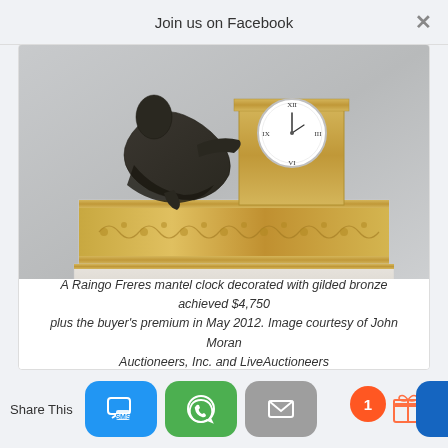Join us on Facebook
[Figure (photo): A Raingo Freres mantel clock with gilded bronze decorations on a white marble base with ornate acanthus scroll friezes and ball feet. A dark patinated bronze figure reclines against a gold rectangular clock body with a white enamel dial.]
A Raingo Freres mantel clock decorated with gilded bronze achieved $4,750 plus the buyer's premium in May 2012. Image courtesy of John Moran Auctioneers, Inc. and LiveAuctioneers
Share This